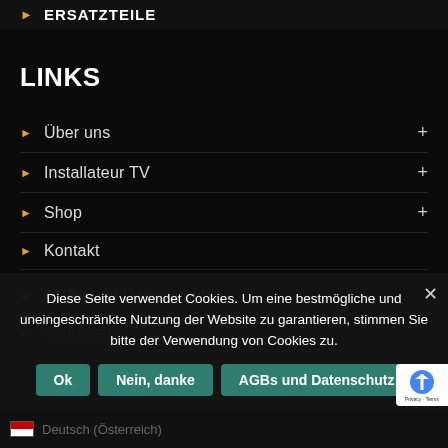ERSATZTEILE
LINKS
Über uns
Installateur TV
Shop
Kontakt
AGBs und Datenschutz
Impressum
Diese Seite verwendet Cookies. Um eine bestmögliche und uneingeschränkte Nutzung der Website zu garantieren, stimmen Sie bitte der Verwendung von Cookies zu.
Ok   Nein, danke   AGBs und Datenschutz
Deutsch (Österreich)